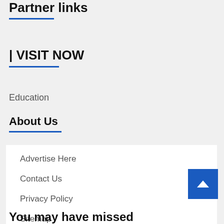Partner links
| VISIT NOW
Education
About Us
Advertise Here
Contact Us
Privacy Policy
Sitemap
You may have missed